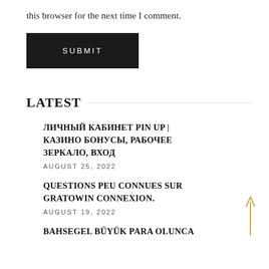this browser for the next time I comment.
SUBMIT
LATEST
ЛИЧНЫЙ КАБИНЕТ PIN UP | КАЗИНО БОНУСЫ, РАБОЧЕЕ ЗЕРКАЛО, ВХОД
AUGUST 25, 2022
QUESTIONS PEU CONNUES SUR GRATOWIN CONNEXION.
AUGUST 19, 2022
BAHSEGEL BÜYÜK PARA OLUNCA